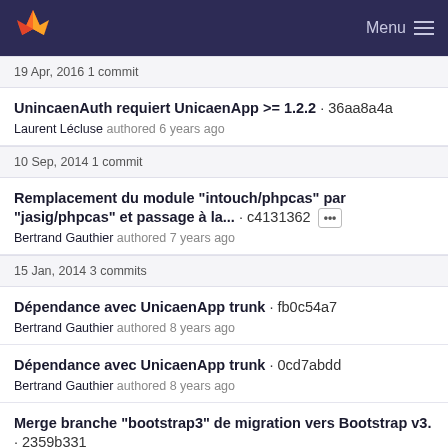GitLab Menu
19 Apr, 2016 1 commit
UnincaenAuth requiert UnicaenApp >= 1.2.2 · 36aa8a4a
Laurent Lécluse authored 6 years ago
10 Sep, 2014 1 commit
Remplacement du module "intouch/phpcas" par "jasig/phpcas" et passage à la... · c4131362 [...]
Bertrand Gauthier authored 7 years ago
15 Jan, 2014 3 commits
Dépendance avec UnicaenApp trunk · fb0c54a7
Bertrand Gauthier authored 8 years ago
Dépendance avec UnicaenApp trunk · 0cd7abdd
Bertrand Gauthier authored 8 years ago
Merge branche "bootstrap3" de migration vers Bootstrap v3.
· 2359b331